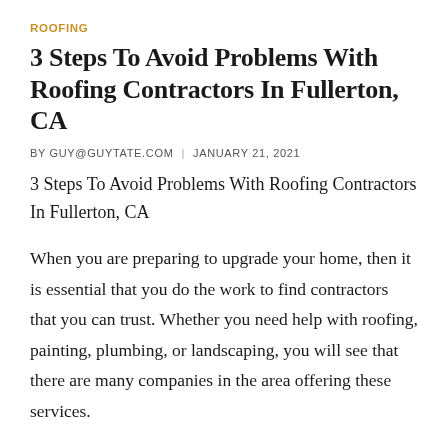ROOFING
3 Steps To Avoid Problems With Roofing Contractors In Fullerton, CA
BY GUY@GUYTATE.COM | JANUARY 21, 2021
3 Steps To Avoid Problems With Roofing Contractors In Fullerton, CA
When you are preparing to upgrade your home, then it is essential that you do the work to find contractors that you can trust. Whether you need help with roofing, painting, plumbing, or landscaping, you will see that there are many companies in the area offering these services.